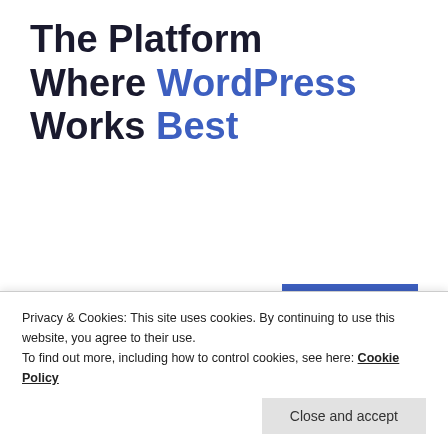The Platform Where WordPress Works Best
SEE PRICING
REPORT THIS AD
[Figure (photo): Circular avatar image of a bear sculpture outdoors]
BIGSKYBUCKEYE
17 Apr 2019 at 5:54 pm
Privacy & Cookies: This site uses cookies. By continuing to use this website, you agree to their use.
To find out more, including how to control cookies, see here: Cookie Policy
Close and accept